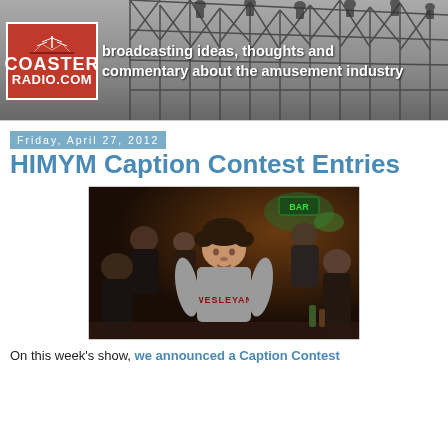CoasterRadio.com — broadcasting ideas, thoughts and commentary about the amusement industry
Friday, April 27, 2012
HIMYM Caption Contest Entries
[Figure (photo): A young man wearing a Wesleyan t-shirt in a bar setting, surrounded by other people, from the TV show How I Met Your Mother]
On this week's show, we announced a Caption Contest